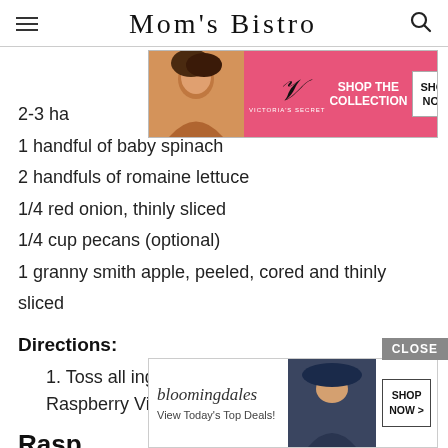Mom's Bistro
[Figure (screenshot): Victoria's Secret advertisement banner with model photo, VS logo, 'SHOP THE COLLECTION' text and 'SHOP NOW' button on pink background]
2-3 ha[ndfulls of strawberries]
1 handful of baby spinach
2 handfuls of romaine lettuce
1/4 red onion, thinly sliced
1/4 cup pecans (optional)
1 granny smith apple, peeled, cored and thinly sliced
Directions:
1. Toss all ingredients together and serve with Raspberry Vinaigrette
Rasp
[Figure (screenshot): Bloomingdale's advertisement banner with model in hat, 'View Today's Top Deals!' text and 'SHOP NOW >' button]